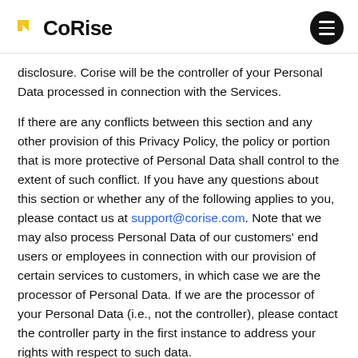CoRise
disclosure. Corise will be the controller of your Personal Data processed in connection with the Services.
If there are any conflicts between this section and any other provision of this Privacy Policy, the policy or portion that is more protective of Personal Data shall control to the extent of such conflict. If you have any questions about this section or whether any of the following applies to you, please contact us at support@corise.com. Note that we may also process Personal Data of our customers’ end users or employees in connection with our provision of certain services to customers, in which case we are the processor of Personal Data. If we are the processor of your Personal Data (i.e., not the controller), please contact the controller party in the first instance to address your rights with respect to such data.